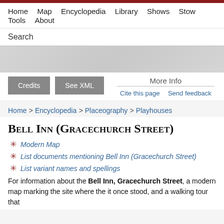Home  Map  Encyclopedia  Library  Shows  Stow  Tools  About
Search
Modern Map
Bell Inn (Gracechurch Street)
Modern Map
List documents mentioning Bell Inn (Gracechurch Street)
List variant names and spellings
For information about the Bell Inn, Gracechurch Street, a modern map marking the site where the it once stood, and a walking tour that